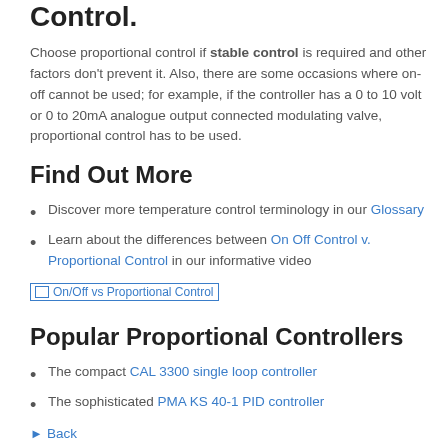Control.
Choose proportional control if stable control is required and other factors don't prevent it. Also, there are some occasions where on-off cannot be used; for example, if the controller has a 0 to 10 volt or 0 to 20mA analogue output connected modulating valve, proportional control has to be used.
Find Out More
Discover more temperature control terminology in our Glossary
Learn about the differences between On Off Control v. Proportional Control in our informative video
[Figure (other): On/Off vs Proportional Control image link placeholder]
Popular Proportional Controllers
The compact CAL 3300 single loop controller
The sophisticated PMA KS 40-1 PID controller
Back